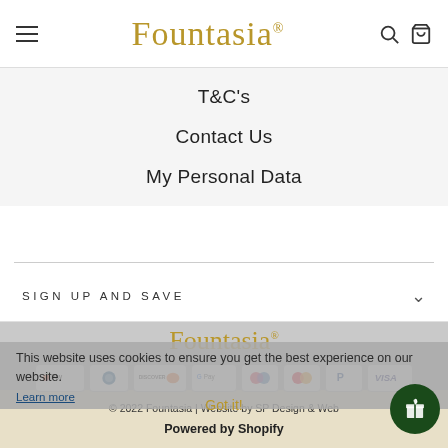Fountasia
T&C's
Contact Us
My Personal Data
SIGN UP AND SAVE
[Figure (logo): Fountasia logo in gold serif font]
[Figure (infographic): Payment method icons: Apple Pay, Diners Club, Discover, Google Pay, Maestro, Mastercard, PayPal, Visa]
This website uses cookies to ensure you get the best experience on our website.
Learn more
Got it!
© 2022 Fountasia | Website by SP Design & Web
Powered by Shopify